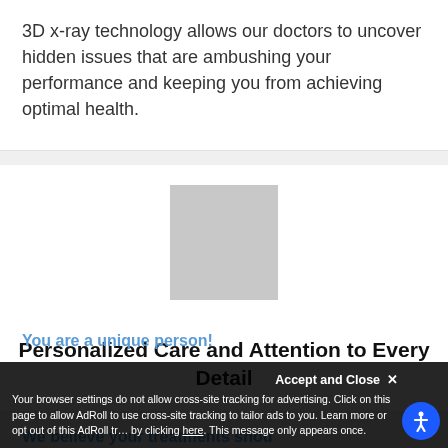3D x-ray technology allows our doctors to uncover hidden issues that are ambushing your performance and keeping you from achieving optimal health.
[Figure (photo): Placeholder image (gray rectangle) representing an unloaded photo]
Personalized Care and Attention to Every Detail
You are a unique person!
We believe your treatments should be wholly...
Accept and Close ✕
Your browser settings do not allow cross-site tracking for advertising. Click on this page to allow AdRoll to use cross-site tracking to tailor ads to you. Learn more or opt out of this AdRoll tracking by clicking here. This message only appears once.